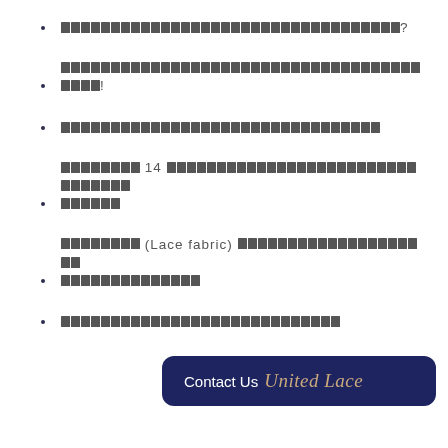[Thai text]?
[Thai text]!
[Thai text]
[Thai text] 14 [Thai text]
[Thai text] (Lace fabric) [Thai text]
[Thai text]
[Figure (logo): Contact Us United Lace logo badge — dark navy blue rounded rectangle with white 'Contact Us' text and gold cursive 'United Lace' script]